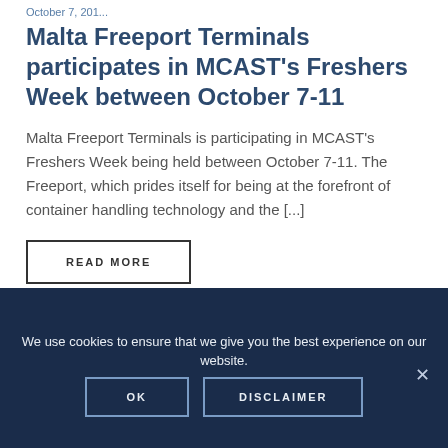October 7, 2019
Malta Freeport Terminals participates in MCAST's Freshers Week between October 7-11
Malta Freeport Terminals is participating in MCAST's Freshers Week being held between October 7-11.  The Freeport, which prides itself for being at the forefront of container handling technology and the [...]
READ MORE
We use cookies to ensure that we give you the best experience on our website.
OK
DISCLAIMER